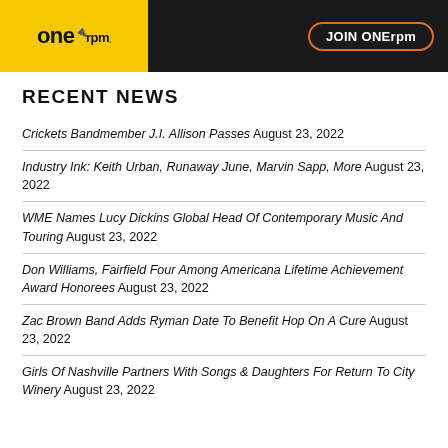[Figure (logo): ONErpm logo banner with yellow left section showing ONErpm logo and dark right section with JOIN ONErpm button]
RECENT NEWS
Crickets Bandmember J.I. Allison Passes August 23, 2022
Industry Ink: Keith Urban, Runaway June, Marvin Sapp, More August 23, 2022
WME Names Lucy Dickins Global Head Of Contemporary Music And Touring August 23, 2022
Don Williams, Fairfield Four Among Americana Lifetime Achievement Award Honorees August 23, 2022
Zac Brown Band Adds Ryman Date To Benefit Hop On A Cure August 23, 2022
Girls Of Nashville Partners With Songs & Daughters For Return To City Winery August 23, 2022